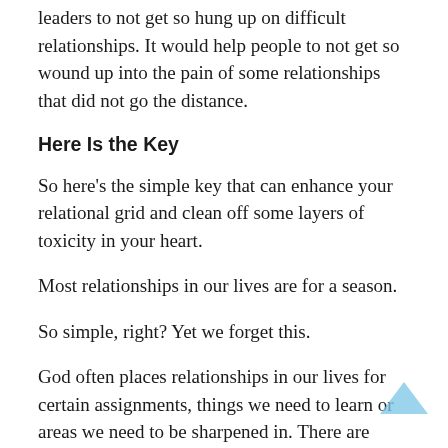leaders to not get so hung up on difficult relationships. It would help people to not get so wound up into the pain of some relationships that did not go the distance.
Here Is the Key
So here's the simple key that can enhance your relational grid and clean off some layers of toxicity in your heart.
Most relationships in our lives are for a season.
So simple, right? Yet we forget this.
God often places relationships in our lives for certain assignments, things we need to learn or areas we need to be sharpened in. There are relationships designed to accompany the season we are currently in. These relationships can be refreshing and propel us